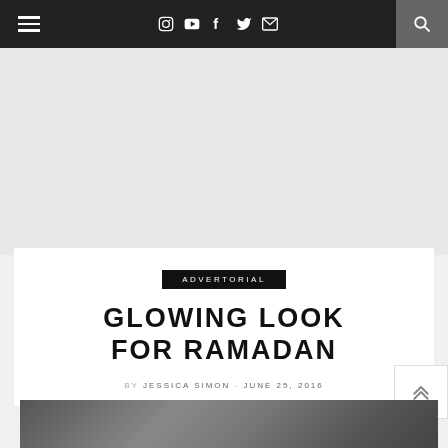Navigation bar with hamburger menu, social icons (Instagram, YouTube, Facebook, Twitter, Email), and search icon
[Figure (other): Advertisement/grey empty space placeholder]
ADVERTORIAL
GLOWING LOOK FOR RAMADAN
BY JESSICA SIMON - JUNE 25, 2016
[Figure (photo): Partial photo visible at the bottom of the page, appears to be an outdoor scene with structures]